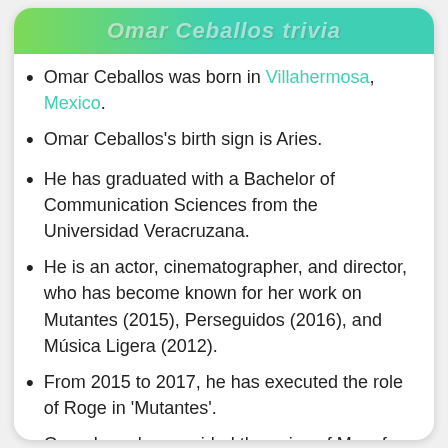Omar Ceballos trivia
Omar Ceballos was born in Villahermosa, Mexico.
Omar Ceballos's birth sign is Aries.
He has graduated with a Bachelor of Communication Sciences from the Universidad Veracruzana.
He is an actor, cinematographer, and director, who has become known for her work on Mutantes (2015), Perseguidos (2016), and Música Ligera (2012).
From 2015 to 2017, he has executed the role of Roge in 'Mutantes'.
Omar has also provided the voice of Mars for 'Desde adentro', and a Student for 'Uno por uno'.